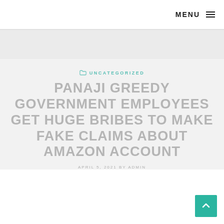MENU
UNCATEGORIZED
PANAJI GREEDY GOVERNMENT EMPLOYEES GET HUGE BRIBES TO MAKE FAKE CLAIMS ABOUT AMAZON ACCOUNT
APRIL 5, 2021 BY ADMIN